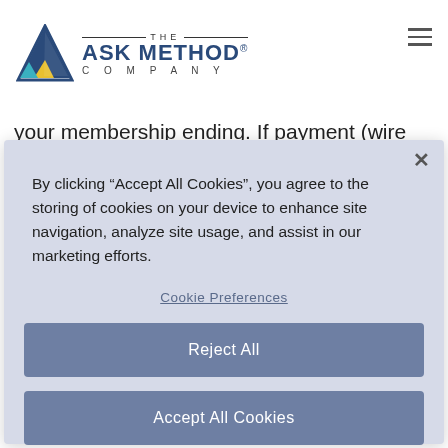THE ASK METHOD COMPANY
your membership ending. If payment (wire balance) is not received by the 2nd business day of the renewal month, membership will default to the payment plan
By clicking “Accept All Cookies”, you agree to the storing of cookies on your device to enhance site navigation, analyze site usage, and assist in our marketing efforts.
Cookie Preferences
Reject All
Accept All Cookies